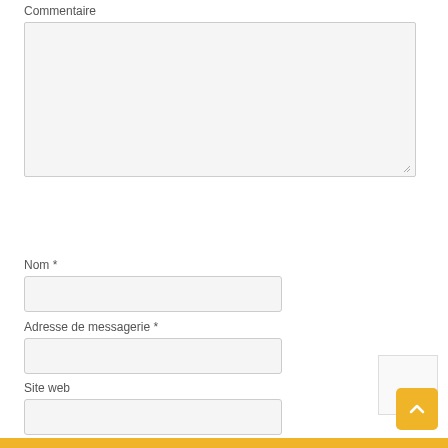Commentaire
[Figure (screenshot): Empty comment textarea with light gray background and resize handle in bottom-right corner]
Nom *
[Figure (screenshot): Empty text input field for Nom (Name), light gray background]
Adresse de messagerie *
[Figure (screenshot): Empty text input field for Adresse de messagerie (email address), light gray background]
Site web
[Figure (screenshot): Empty text input field for Site web, light gray background]